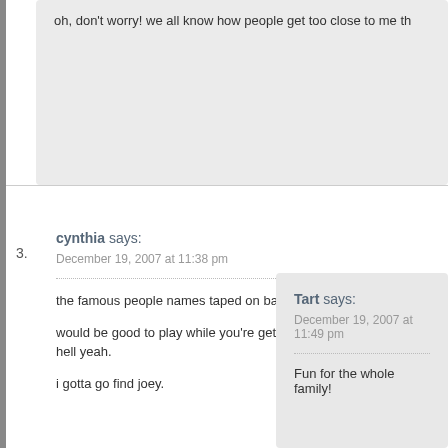oh, don't worry! we all know how people get too close to me th
3. cynthia says: December 19, 2007 at 11:38 pm
the famous people names taped on backs game…

would be good to play while you're gettin' someone from behind.
hell yeah.

i gotta go find joey.
Tart says: December 19, 2007 at 11:49 pm
Fun for the whole family!